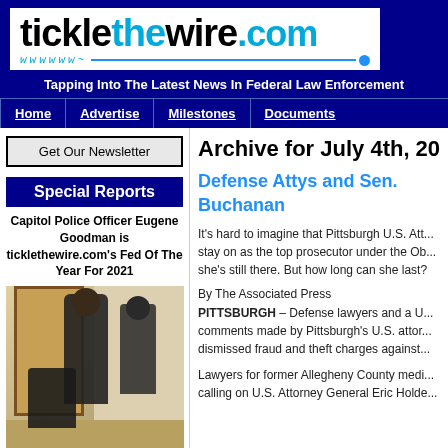[Figure (logo): ticklethewire.com logo on white background with dark blue site background]
Tapping Into The Latest News In Federal Law Enforcement
Home | Advertise | Milestones | Documents
Get Our Newsletter
Special Reports
Capitol Police Officer Eugene Goodman is ticklethewire.com's Fed Of The Year For 2021
[Figure (photo): Capitol Police officer Eugene Goodman in hallway scene]
Archive for July 4th, 2009
Defense Attys and Sen. Buchanan
It's hard to imagine that Pittsburgh U.S. Att... stay on as the top prosecutor under the Ob... she's still there. But how long can she last?
By The Associated Press
PITTSBURGH – Defense lawyers and a U... comments made by Pittsburgh's U.S. attor... dismissed fraud and theft charges against...
Lawyers for former Allegheny County medi... calling on U.S. Attorney General Eric Holde...